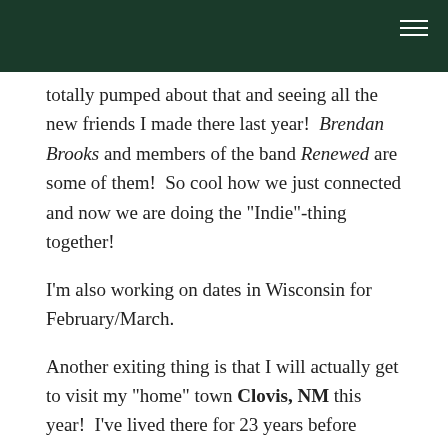totally pumped about that and seeing all the new friends I made there last year!  Brendan Brooks and members of the band Renewed are some of them!  So cool how we just connected and now we are doing the "Indie"-thing together!
I'm also working on dates in Wisconsin for February/March.
Another exiting thing is that I will actually get to visit my "home" town Clovis, NM this year!  I've lived there for 23 years before moving away 11 years ago and still consider it home.   It will be exciting to see all the many friends there and I'm also working on a few music